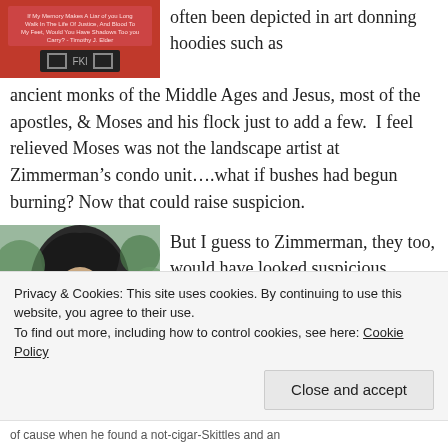[Figure (photo): Photo of a red hoodie/shirt with text and a logo]
often been depicted in art donning hoodies such as ancient monks of the Middle Ages and Jesus, most of the apostles, & Moses and his flock just to add a few.  I feel relieved Moses was not the landscape artist at Zimmerman's condo unit....what if bushes had begun burning? Now that could raise suspicion.
[Figure (photo): Photo of a man wearing a dark hoodie]
But I guess to Zimmerman, they too, would have looked suspicious carrying Skittles and Arizona Tea inside
Privacy & Cookies: This site uses cookies. By continuing to use this website, you agree to their use.
To find out more, including how to control cookies, see here: Cookie Policy
Close and accept
of cause when he found a not-cigar-Skittles and an